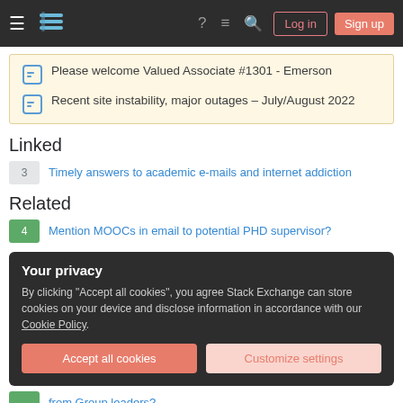Stack Exchange navigation bar with Log in and Sign up buttons
Please welcome Valued Associate #1301 - Emerson
Recent site instability, major outages – July/August 2022
Linked
3 — Timely answers to academic e-mails and internet addiction
Related
4 — Mention MOOCs in email to potential PHD supervisor?
Your privacy
By clicking "Accept all cookies", you agree Stack Exchange can store cookies on your device and disclose information in accordance with our Cookie Policy.
[Accept all cookies] [Customize settings]
from Group leaders?